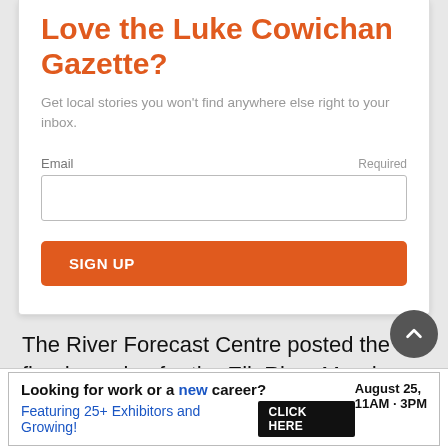Love the Lake Cowichan Gazette?
Get local stories you won't find anywhere else right to your inbox.
Email  Required
SIGN UP
The River Forecast Centre posted the flood warning for the Elk River Monday and added flood watches to rivers around Invermere, Radium, Revelstoke and as far west as the
[Figure (screenshot): Advertisement banner: 'Looking for work or a new career? August 25, 11AM - 3PM  Featuring 25+ Exhibitors and Growing!  CLICK HERE']